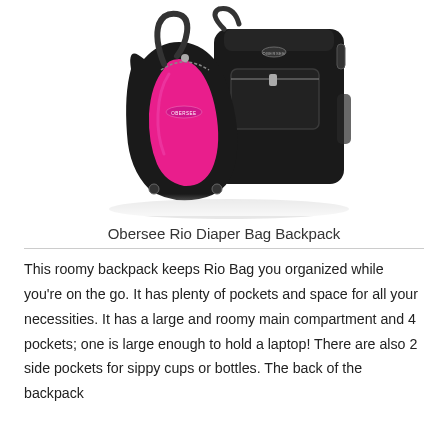[Figure (photo): Product photo of two Obersee Rio Diaper Bag Backpacks — one black-and-pink sling-style bag in front and one all-black backpack behind it. The bags are shown on a white reflective surface.]
Obersee Rio Diaper Bag Backpack
This roomy backpack keeps Rio Bag you organized while you're on the go. It has plenty of pockets and space for all your necessities. It has a large and roomy main compartment and 4 pockets; one is large enough to hold a laptop! There are also 2 side pockets for sippy cups or bottles. The back of the backpack